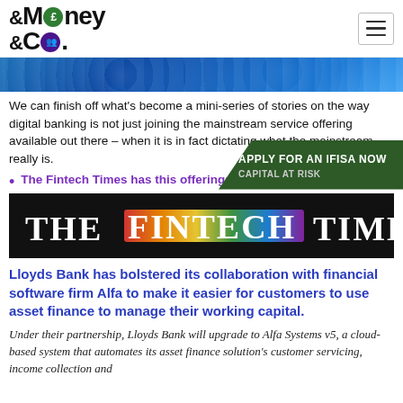Money & Co.
[Figure (photo): Blue abstract digital banking banner image]
We can finish off what's become a mini-series of stories on the way digital banking is not just joining the mainstream service offering available out there – when it is in fact dictating what the mainstream really is.
The Fintech Times has this offering:
[Figure (logo): The Fintech Times logo on black background with rainbow colored text on FINTECH]
Lloyds Bank has bolstered its collaboration with financial software firm Alfa to make it easier for customers to use asset finance to manage their working capital.
Under their partnership, Lloyds Bank will upgrade to Alfa Systems v5, a cloud-based system that automates its asset finance solution's customer servicing, income collection and